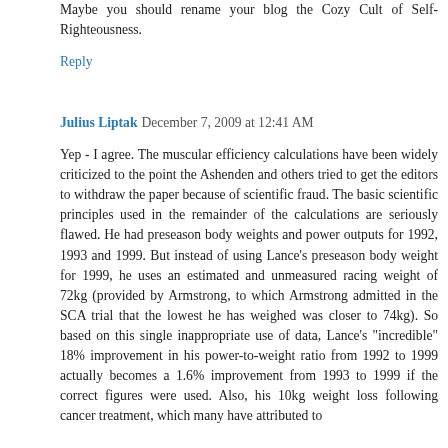Maybe you should rename your blog the Cozy Cult of Self-Righteousness.
Reply
Julius Liptak  December 7, 2009 at 12:41 AM
Yep - I agree. The muscular efficiency calculations have been widely criticized to the point the Ashenden and others tried to get the editors to withdraw the paper because of scientific fraud. The basic scientific principles used in the remainder of the calculations are seriously flawed. He had preseason body weights and power outputs for 1992, 1993 and 1999. But instead of using Lance's preseason body weight for 1999, he uses an estimated and unmeasured racing weight of 72kg (provided by Armstrong, to which Armstrong admitted in the SCA trial that the lowest he has weighed was closer to 74kg). So based on this single inappropriate use of data, Lance's "incredible" 18% improvement in his power-to-weight ratio from 1992 to 1999 actually becomes a 1.6% improvement from 1993 to 1999 if the correct figures were used. Also, his 10kg weight loss following cancer treatment, which many have attributed to